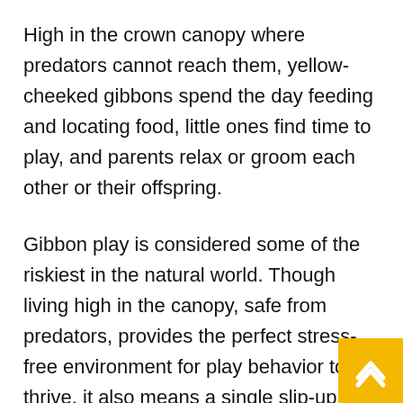High in the crown canopy where predators cannot reach them, yellow-cheeked gibbons spend the day feeding and locating food, little ones find time to play, and parents relax or groom each other or their offspring.
Gibbon play is considered some of the riskiest in the natural world. Though living high in the canopy, safe from predators, provides the perfect stress-free environment for play behavior to thrive, it also means a single slip-up during a playful chase or wrestle can have fatal results for a yet-competent infant. Naturally, as a result, gibbon parents (both the